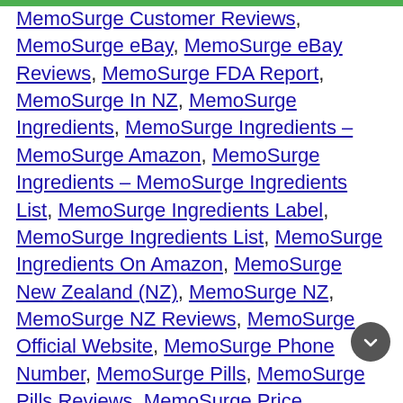MemoSurge Customer Reviews, MemoSurge eBay, MemoSurge eBay Reviews, MemoSurge FDA Report, MemoSurge In NZ, MemoSurge Ingredients, MemoSurge Ingredients – MemoSurge Amazon, MemoSurge Ingredients – MemoSurge Ingredients List, MemoSurge Ingredients Label, MemoSurge Ingredients List, MemoSurge Ingredients On Amazon, MemoSurge New Zealand (NZ), MemoSurge NZ, MemoSurge NZ Reviews, MemoSurge Official Website, MemoSurge Phone Number, MemoSurge Pills, MemoSurge Pills Reviews, MemoSurge Price, MemoSurge Review, MemoSurge Review 2021, MemoSurge Reviews, MemoSurge Reviews – MemoSurge Ingredients On Amazon, MemoSurge Reviews Amazon, MemoSurge Reviews...